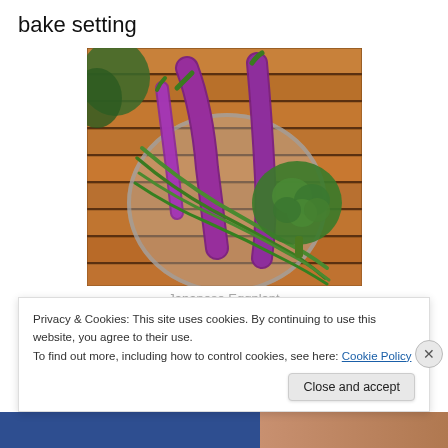bake setting
[Figure (photo): Bowl of fresh vegetables including purple Japanese eggplants, green beans/scallions, and broccoli on a wooden slat table]
Japanese Eggplant
Privacy & Cookies: This site uses cookies. By continuing to use this website, you agree to their use.
To find out more, including how to control cookies, see here: Cookie Policy
Close and accept